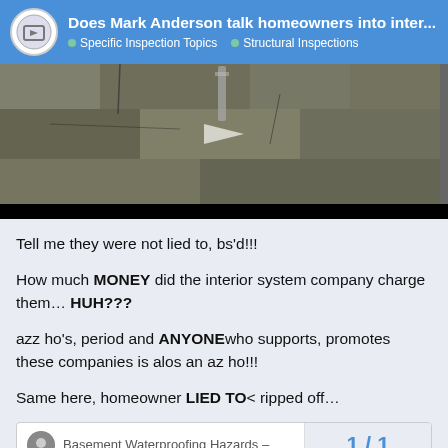Does Mark Anderson talk homeowners into inter... • Specific Inspection Topics • Structural Inspections
[Figure (screenshot): Video thumbnail showing a concrete/masonry basement wall with visible damage and cracks, dark video player bar at bottom, play button visible]
Tell me they were not lied to, bs'd!!!
How much MONEY did the interior system company charge them… HUH???
azz ho's, period and ANYONEwho supports, promotes these companies is alos an az ho!!!
Same here, homeowner LIED TO< ripped off…
Basement Waterproofing Hazards –
1 / 1